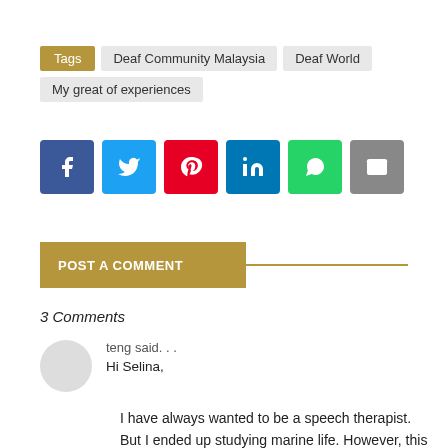Tags  Deaf Community Malaysia  Deaf World  My great of experiences
[Figure (infographic): Social share buttons: Facebook (blue), Twitter (light blue), Pinterest (red), LinkedIn (dark blue), WhatsApp (green), Email (gray)]
POST A COMMENT
3 Comments
teng said...
Hi Selina,

I have always wanted to be a speech therapist. But I ended up studying marine life. However, this dream of mine has never leave me, and I still feel proud to learn more about my friends who cannot hear and speak like I do. Now, thanks to friends like you, I felt closer to the silent world. Thanks for communicating with the world. You are doing great!